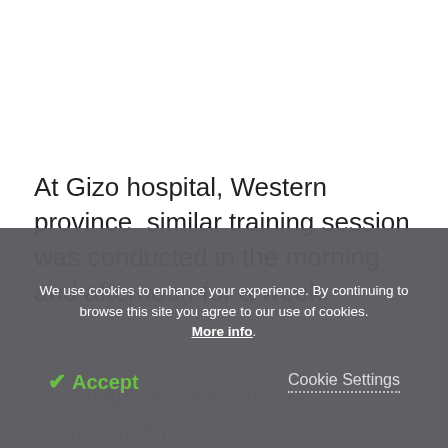At Gizo hospital, Western province, similar training session was conducted in the morning and afternoon for a week.
The training session was conducted in...
We use cookies to enhance your experience. By continuing to browse this site you agree to our use of cookies. More info.
✔ Accept
Cookie Settings